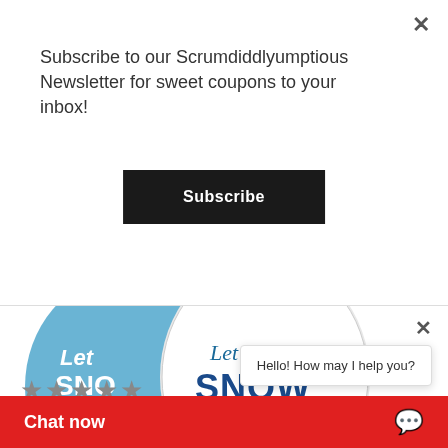Subscribe to our Scrumdiddlyumptious Newsletter for sweet coupons to your inbox!
Subscribe
[Figure (photo): Two balloons — one blue and one white — with 'Let it SNOW' text printed on them, against a white background.]
LET IT SNOW LATEX BALLOONS SALE!
★★★★★ (stars)
Let it Snow latex balloons come in 2 colors. Add a balloon bouquet to...
Hello! How may I help you?
Chat now